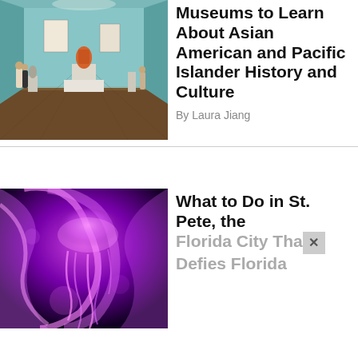[Figure (photo): Interior of an art museum gallery with sculptures on pedestals, teal/green walls, wooden floor, visitors walking around.]
Museums to Learn About Asian American and Pacific Islander History and Culture
By Laura Jiang
[Figure (photo): Glowing purple and pink jellyfish-like light art installation against a dark background.]
What to Do in St. Pete, the Florida City That Defies Florida